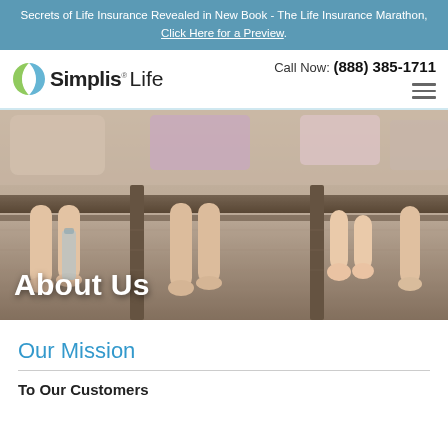Secrets of Life Insurance Revealed in New Book - The Life Insurance Marathon, Click Here for a Preview.
[Figure (logo): Simplis Life logo with circular green/blue swoosh icon]
Call Now: (888) 385-1711
[Figure (photo): Children's legs dangling over a wooden fence, family/lifestyle photo for About Us page]
About Us
Our Mission
To Our Customers